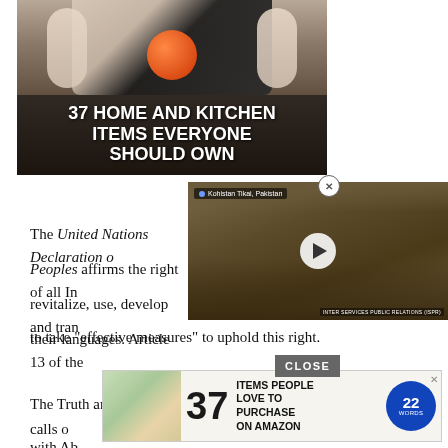[Figure (photo): Advertisement banner showing a kitchen gadget slicing a tomato with overlay text '37 HOME AND KITCHEN ITEMS EVERYONE SHOULD OWN']
[Figure (screenshot): Video overlay showing a flood/landslide scene from Kohistan Tikai, Pakistan with a play button, labeled INTER SERVICES PUBLIC RELATIONS (ISPR)]
The United Nations Declaration on the Rights of Indigenous Peoples affirms the right of all Indigenous Peoples to maintain, revitalize, use, develop and transmit to future generations their languages. Article 13 of the Declaration calls on States to take "effective measures" to uphold this right.
[Figure (screenshot): Bottom advertisement banner showing '37 ITEMS PEOPLE LOVE TO PURCHASE ON AMAZON' with 22 Words logo, with a CLOSE button overlay]
The Truth and Reconciliation Commission's Calls to Action 15 calls on
tion with Aboriginal